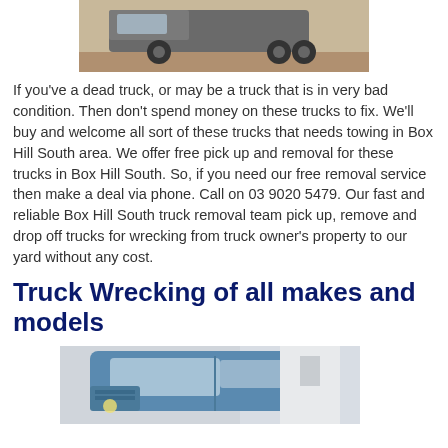[Figure (photo): Partial view of a truck, top portion visible, photographed outdoors on dirt/gravel surface]
If you've a dead truck, or may be a truck that is in very bad condition. Then don't spend money on these trucks to fix. We'll buy and welcome all sort of these trucks that needs towing in Box Hill South area. We offer free pick up and removal for these trucks in Box Hill South. So, if you need our free removal service then make a deal via phone. Call on 03 9020 5479. Our fast and reliable Box Hill South truck removal team pick up, remove and drop off trucks for wrecking from truck owner's property to our yard without any cost.
Truck Wrecking of all makes and models
[Figure (photo): Partial view of a blue truck/van, front portion visible, photographed indoors or in a garage]